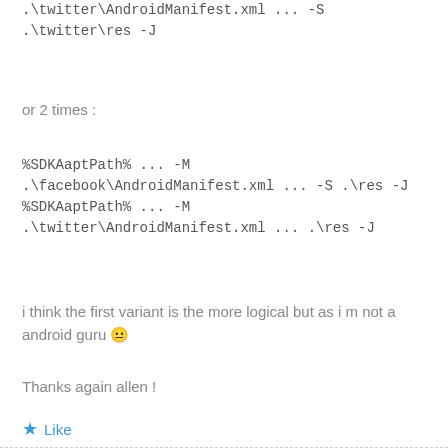.\twitter\AndroidManifest.xml ... -S .\twitter\res -J
or 2 times :
%SDKAaptPath% ... -M .\facebook\AndroidManifest.xml ... -S .\res -J %SDKAaptPath% ... -M .\twitter\AndroidManifest.xml ... .\res -J
i think the first variant is the more logical but as i m not a android guru 😐
Thanks again allen !
★ Like